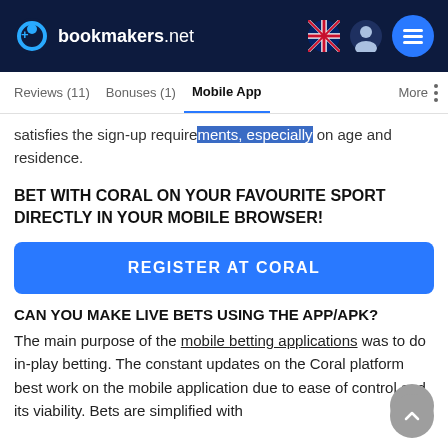bookmakers.net
Reviews (11)  Bonuses (1)  Mobile App  More
satisfies the sign-up requirements, especially on age and residence.
BET WITH CORAL ON YOUR FAVOURITE SPORT DIRECTLY IN YOUR MOBILE BROWSER!
REGISTER AT CORAL
CAN YOU MAKE LIVE BETS USING THE APP/APK?
The main purpose of the mobile betting applications was to do in-play betting. The constant updates on the Coral platform best work on the mobile application due to ease of control and its viability. Bets are simplified with